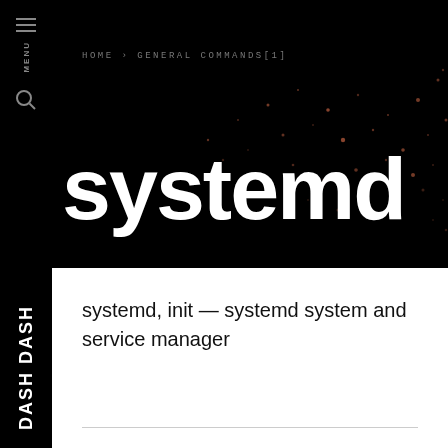HOME › GENERAL COMMANDS[1]
systemd
systemd, init — systemd system and service manager